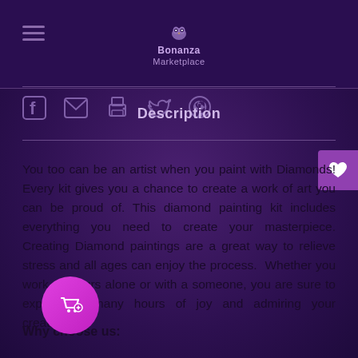Bonanza Marketplace
[Figure (screenshot): Social sharing icons row: Facebook, email, print, Twitter, Pinterest]
Description
You too can be an artist when you paint with Diamonds! Every kit gives you a chance to create a work of art you can be proud of. This diamond painting kit includes everything you need to create your masterpiece. Creating Diamond paintings are a great way to relieve stress and all ages can enjoy the process.  Whether you work on yours alone or with a someone, you are sure to experience many hours of joy and admiring your creation.
Why choose us: